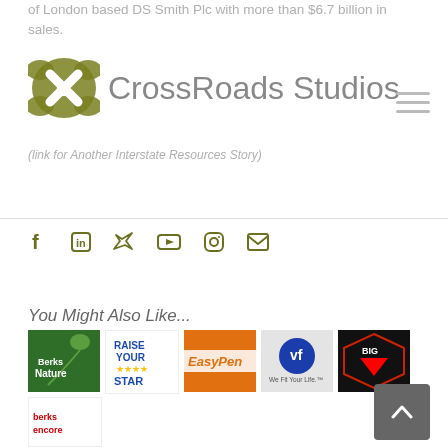of London based DS Smith Plc with more than $6.7 billion in sales.
[Figure (logo): CrossRoads Studios logo with olive-colored splat icon and gray text]
(link for Another Interstate Resources Story)
[Figure (infographic): Hamburger menu icon (three horizontal lines)]
[Figure (infographic): Social media icons: Facebook, LinkedIn, Twitter, YouTube, Instagram, Email]
You Might Also Like...
[Figure (photo): Berks Nature logo thumbnail - green background with leaf]
[Figure (photo): Raise Your Star thumbnail - white background with blue text and yellow stars]
[Figure (photo): EasyPenn thumbnail - orange background with logo]
[Figure (photo): VF Corporation thumbnail - blue circle logo with We Fit Your Life text]
[Figure (photo): Big Vision Foundation thumbnail - dark background with red logo]
[Figure (photo): Berks Encore thumbnail - white background with red logo]